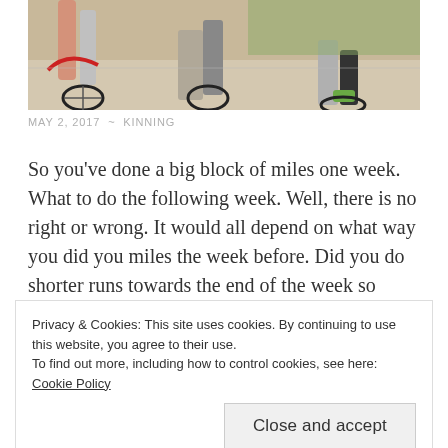[Figure (photo): Cyclists riding bikes on a road, viewed from low angle showing legs and bicycle wheels]
MAY 2, 2017  ~  KINNING
So you've done a big block of miles one week. What to do the following week. Well, there is no right or wrong. It would all depend on what way you did you miles the week before. Did you do shorter runs towards the end of the week so you'd be less tired? Had you a massive spin on
Privacy & Cookies: This site uses cookies. By continuing to use this website, you agree to their use.
To find out more, including how to control cookies, see here: Cookie Policy
cycling day after day. If you get it correct a few